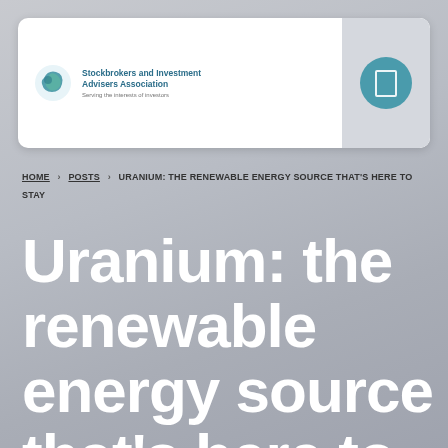[Figure (logo): Stockbrokers and Investment Advisers Association logo with globe icon, tagline: Serving the interests of investors]
HOME > POSTS > URANIUM: THE RENEWABLE ENERGY SOURCE THAT'S HERE TO STAY
Uranium: the renewable energy source that's here to stay